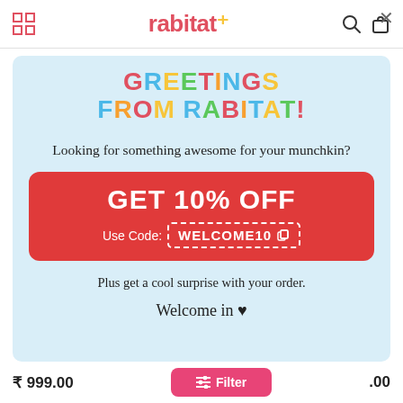rabitat navigation bar with grid icon, logo, search and cart icons
GREETINGS FROM RABITAT!
Looking for something awesome for your munchkin?
GET 10% OFF
Use Code: WELCOME10
Plus get a cool surprise with your order.
Welcome in ♥
₹ 999.00  Filter  .00